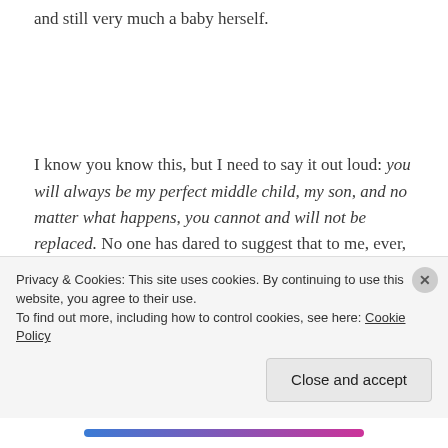and still very much a baby herself.
I know you know this, but I need to say it out loud: you will always be my perfect middle child, my son, and no matter what happens, you cannot and will not be replaced. No one has dared to suggest that to me, ever, but I wanted to say it. I wanted to say it for you and for me and for anyone who might disagree. Life happens so
Privacy & Cookies: This site uses cookies. By continuing to use this website, you agree to their use.
To find out more, including how to control cookies, see here: Cookie Policy